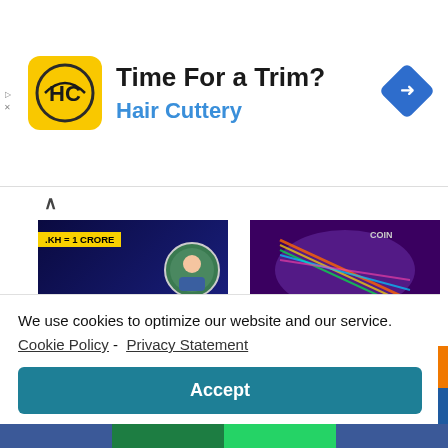[Figure (screenshot): Advertisement banner for Hair Cuttery with logo, title 'Time For a Trim?' and navigation icon]
Time For a Trim?
Hair Cuttery
[Figure (screenshot): Thumbnail for Top 10 Cryptocurrency 2022 video with Hindi text 'अभी ही मौका है' and .KH = 1 CRORE label]
Top 10 Cryptocurrency 2022 | Top Long Term Coins for 2022 | Cryptocurrency for
[Figure (photo): Thumbnail showing a coin with rainbow reflections - Coin Collecting article]
Coin Collecting – The Top 10 List
July 27, 2022
We use cookies to optimize our website and our service.  Cookie Policy - Privacy Statement
Accept